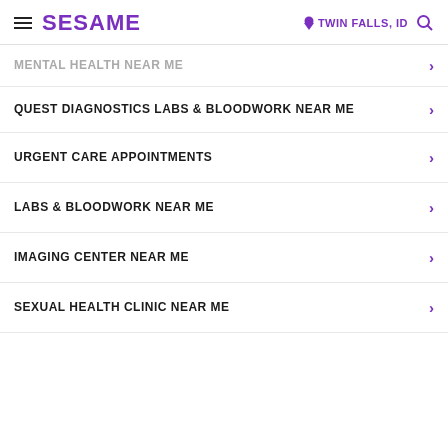SESAME | TWIN FALLS, ID
MENTAL HEALTH NEAR ME
QUEST DIAGNOSTICS LABS & BLOODWORK NEAR ME
URGENT CARE APPOINTMENTS
LABS & BLOODWORK NEAR ME
IMAGING CENTER NEAR ME
SEXUAL HEALTH CLINIC NEAR ME